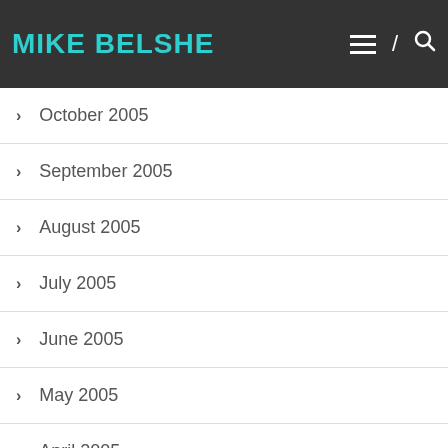MIKE BELSHE
October 2005
September 2005
August 2005
July 2005
June 2005
May 2005
April 2005
March 2005
February 2005
January 2005
December 2004